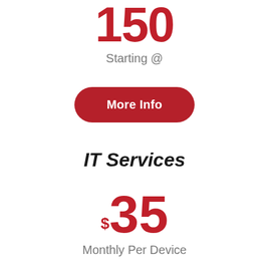150 Starting @
[Figure (other): Red rounded rectangle button labeled 'More Info']
IT Services
$35 Monthly Per Device
[Figure (other): Red rounded rectangle button (partially visible at bottom)]